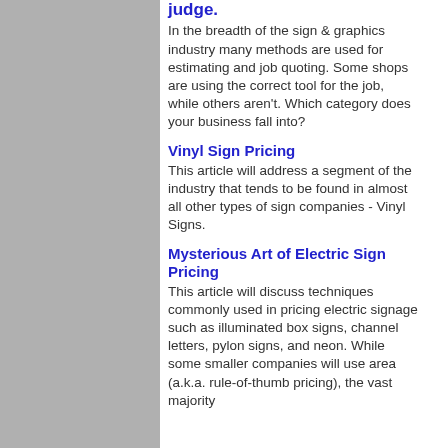judge.
In the breadth of the sign & graphics industry many methods are used for estimating and job quoting. Some shops are using the correct tool for the job, while others aren't. Which category does your business fall into?
Vinyl Sign Pricing
This article will address a segment of the industry that tends to be found in almost all other types of sign companies - Vinyl Signs.
Mysterious Art of Electric Sign Pricing
This article will discuss techniques commonly used in pricing electric signage such as illuminated box signs, channel letters, pylon signs, and neon. While some smaller companies will use area (a.k.a. rule-of-thumb pricing), the vast majority